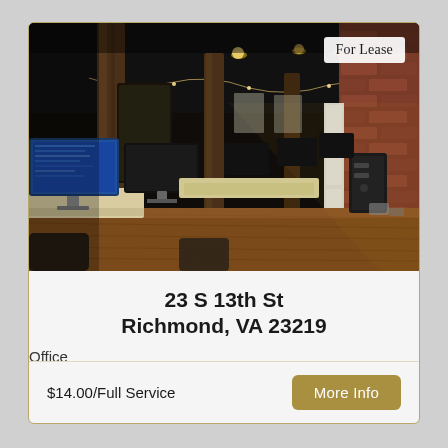[Figure (photo): Interior photo of a modern office space with exposed wooden beams, dark ceiling, brick wall on right side, rows of computer workstations with monitors, and hardwood floors. A 'For Lease' badge appears in the upper right corner of the photo.]
23 S 13th St
Richmond, VA 23219
Office
$14.00/Full Service
More Info